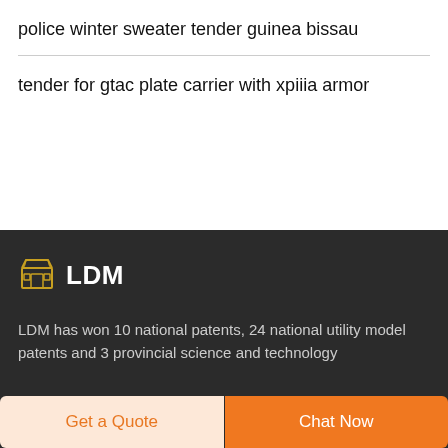police winter sweater tender guinea bissau
tender for gtac plate carrier with xpiiia armor
[Figure (logo): Store/shop icon in gold/yellow color representing LDM brand]
LDM
LDM has won 10 national patents, 24 national utility model patents and 3 provincial science and technology
Get a Quote
Chat Now